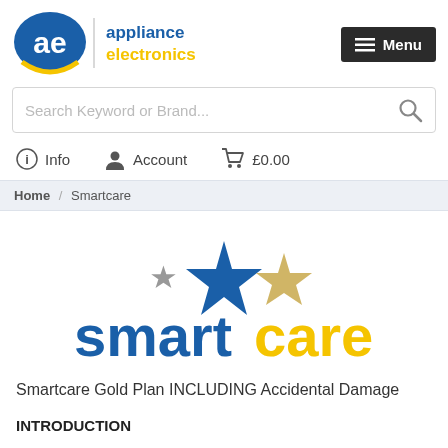[Figure (logo): Appliance Electronics logo with 'ae' icon and text 'appliance electronics' in blue and yellow]
[Figure (logo): Dark hamburger menu button with three lines and 'Menu' text in white on dark background]
Search Keyword or Brand...
ℹ Info   👤 Account   🛒 £0.00
Home / Smartcare
[Figure (logo): Smartcare logo with three stars (grey, blue, gold) above the word 'smartcare' in blue and yellow]
Smartcare Gold Plan INCLUDING Accidental Damage
INTRODUCTION